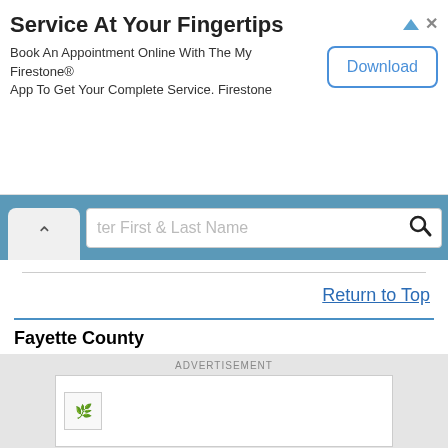[Figure (screenshot): Advertisement banner for Firestone app with Download button]
Service At Your Fingertips
Book An Appointment Online With The My Firestone® App To Get Your Complete Service. Firestone
ter First & Last Name (partial search bar visible)
Return to Top
Fayette County
Delinquent Taxes and Tax Lien Sales
Fayette County Treasurer
133 South Main St., Suite 303, Washington
ADVERTISEMENT